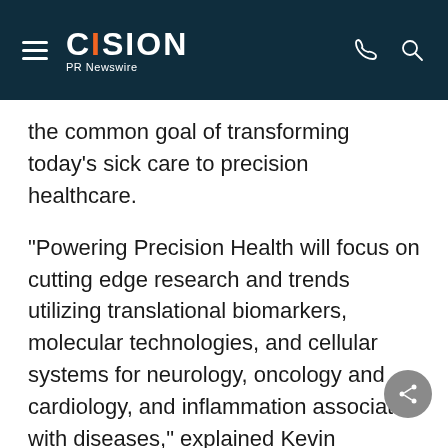CISION PR Newswire
the common goal of transforming today's sick care to precision healthcare.
"Powering Precision Health will focus on cutting edge research and trends utilizing translational biomarkers, molecular technologies, and cellular systems for neurology, oncology and cardiology, and inflammation associated with diseases," explained Kevin Hrusovsky, Founder & Chairman, Powering Precision Health Summit, Executive Chairman & CEO, Quanterix. "The ultimate vision for the summit is to create a culture of health and wellness where disease prevention guides not only our healthcare system but our everyday living."